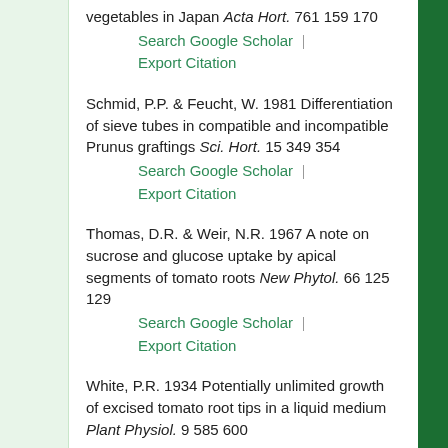vegetables in Japan Acta Hort. 761 159 170
Search Google Scholar | Export Citation
Schmid, P.P. & Feucht, W. 1981 Differentiation of sieve tubes in compatible and incompatible Prunus graftings Sci. Hort. 15 349 354
Search Google Scholar | Export Citation
Thomas, D.R. & Weir, N.R. 1967 A note on sucrose and glucose uptake by apical segments of tomato roots New Phytol. 66 125 129
Search Google Scholar | Export Citation
White, P.R. 1934 Potentially unlimited growth of excised tomato root tips in a liquid medium Plant Physiol. 9 585 600